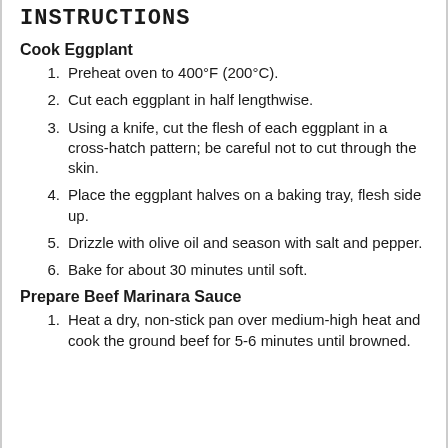INSTRUCTIONS
Cook Eggplant
1. Preheat oven to 400°F (200°C).
2. Cut each eggplant in half lengthwise.
3. Using a knife, cut the flesh of each eggplant in a cross-hatch pattern; be careful not to cut through the skin.
4. Place the eggplant halves on a baking tray, flesh side up.
5. Drizzle with olive oil and season with salt and pepper.
6. Bake for about 30 minutes until soft.
Prepare Beef Marinara Sauce
1. Heat a dry, non-stick pan over medium-high heat and cook the ground beef for 5-6 minutes until browned.